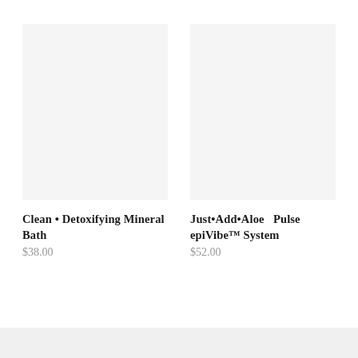[Figure (photo): Product image placeholder – light gray square for Clean • Detoxifying Mineral Bath]
Clean • Detoxifying Mineral Bath
$38.00
[Figure (photo): Product image placeholder – light gray square for Just•Add•Aloe Pulse epiVibe™ System]
Just•Add•Aloe  Pulse epiVibe™ System
$52.00